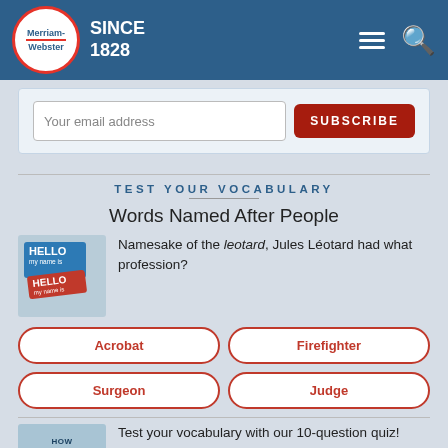Merriam-Webster SINCE 1828
Your email address
SUBSCRIBE
TEST YOUR VOCABULARY
Words Named After People
[Figure (illustration): Hello my name is name tag stickers, blue and red]
Namesake of the leotard, Jules Léotard had what profession?
Acrobat
Firefighter
Surgeon
Judge
[Figure (illustration): How Strong vocabulary quiz promotional image]
Test your vocabulary with our 10-question quiz!